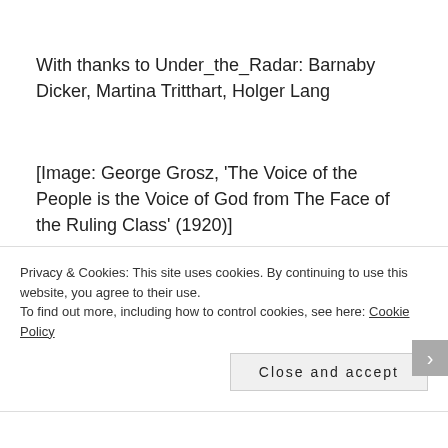With thanks to Under_the_Radar: Barnaby Dicker, Martina Tritthart, Holger Lang
[Image: George Grosz, ‘The Voice of the People is the Voice of God from The Face of the Ruling Class’ (1920)]
[1] George Monbiot, ‘From Trump to Johnson, nationalists are the rise… backed by billionaire oligarchs’ The Guardian, 26/07/19
Privacy & Cookies: This site uses cookies. By continuing to use this website, you agree to their use.
To find out more, including how to control cookies, see here: Cookie Policy
Close and accept